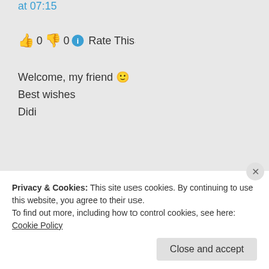at 07:15
👍 0 👎 0 ℹ Rate This
Welcome, my friend 🙂
Best wishes
Didi
★ Liked by 1 person
Log in to Reply
Harbans on
Privacy & Cookies: This site uses cookies. By continuing to use this website, you agree to their use.
To find out more, including how to control cookies, see here: Cookie Policy